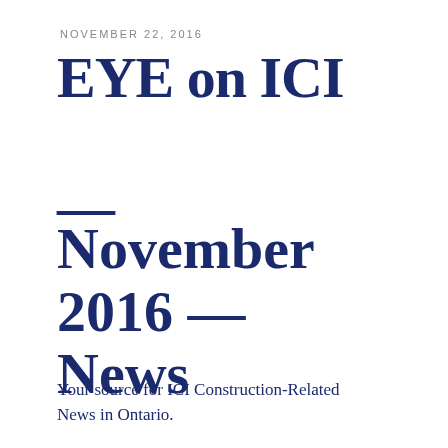NOVEMBER 22, 2016
EYE on ICI
—
November 2016 — News
Your source for ICI Construction-Related News in Ontario.